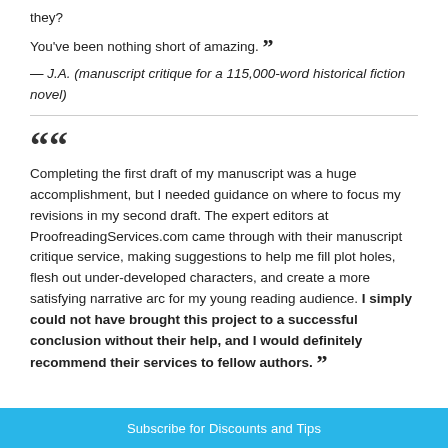they?
You've been nothing short of amazing. ”
— J.A. (manuscript critique for a 115,000-word historical fiction novel)
“ Completing the first draft of my manuscript was a huge accomplishment, but I needed guidance on where to focus my revisions in my second draft. The expert editors at ProofreadingServices.com came through with their manuscript critique service, making suggestions to help me fill plot holes, flesh out under-developed characters, and create a more satisfying narrative arc for my young reading audience. I simply could not have brought this project to a successful conclusion without their help, and I would definitely recommend their services to fellow authors. ”
Subscribe for Discounts and Tips